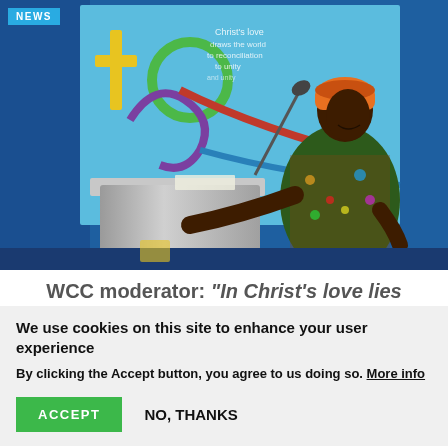[Figure (photo): A woman in colorful African attire and head wrap speaks at a podium with a microphone. Behind her is a large screen with colorful circular WCC branding graphics on a blue background. The setting is a conference stage.]
WCC moderator: “In Christ’s love lies
We use cookies on this site to enhance your user experience
By clicking the Accept button, you agree to us doing so. More info
ACCEPT
NO, THANKS